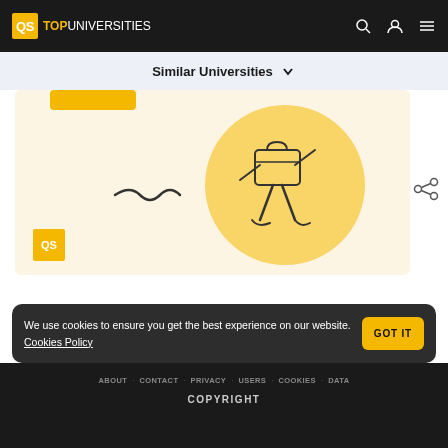QS TOP UNIVERSITIES
Similar Universities
[Figure (illustration): QS TopUniversities illustration with animated character walking on a light yellow/cream background, with a QS logo badge in the bottom-left corner]
We use cookies to ensure you get the best experience on our website. Cookies Policy
ABOUT   CONTACT   PRIVACY   USERS   COOKIES   DATA   COPYRIGHT